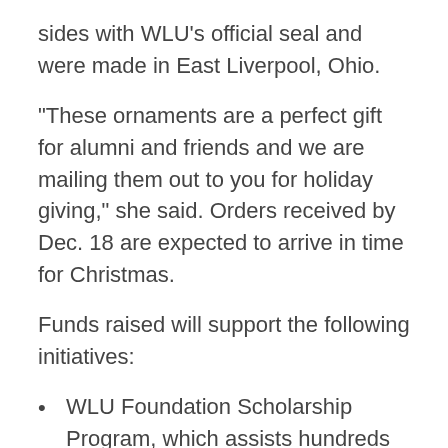sides with WLU's official seal and were made in East Liverpool, Ohio.
“These ornaments are a perfect gift for alumni and friends and we are mailing them out to you for holiday giving,” she said. Orders received by Dec. 18 are expected to arrive in time for Christmas.
Funds raised will support the following initiatives:
WLU Foundation Scholarship Program, which assists hundreds of students every year
The Helping Hilltoppers Program, which assists student in additional need due to COVID-19
Greatest need of the University … especially important during these unprecedented times of